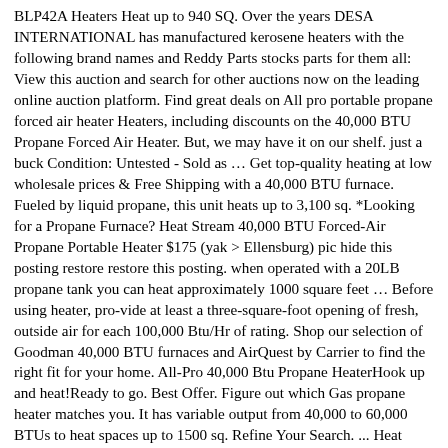BLP42A Heaters Heat up to 940 SQ. Over the years DESA INTERNATIONAL has manufactured kerosene heaters with the following brand names and Reddy Parts stocks parts for them all: View this auction and search for other auctions now on the leading online auction platform. Find great deals on All pro portable propane forced air heater Heaters, including discounts on the 40,000 BTU Propane Forced Air Heater. But, we may have it on our shelf. just a buck Condition: Untested - Sold as … Get top-quality heating at low wholesale prices & Free Shipping with a 40,000 BTU furnace. Fueled by liquid propane, this unit heats up to 3,100 sq. *Looking for a Propane Furnace? Heat Stream 40,000 BTU Forced-Air Propane Portable Heater $175 (yak > Ellensburg) pic hide this posting restore restore this posting. when operated with a 20LB propane tank you can heat approximately 1000 square feet … Before using heater, pro-vide at least a three-square-foot opening of fresh, outside air for each 100,000 Btu/Hr of rating. Shop our selection of Goodman 40,000 BTU furnaces and AirQuest by Carrier to find the right fit for your home. All-Pro 40,000 Btu Propane HeaterHook up and heat!Ready to go. Best Offer. Figure out which Gas propane heater matches you. It has variable output from 40,000 to 60,000 BTUs to heat spaces up to 1500 sq. Refine Your Search. ... Heat Stream 40,000 BTU Forced-Air Propane Portable Heater $175 (yak > Ellensburg) pic hide this posting restore … Assembled in U.S.A. 99.9% Efficient. Propane/LP Patio Radiant Heater. ASSEMBLED IN USA -